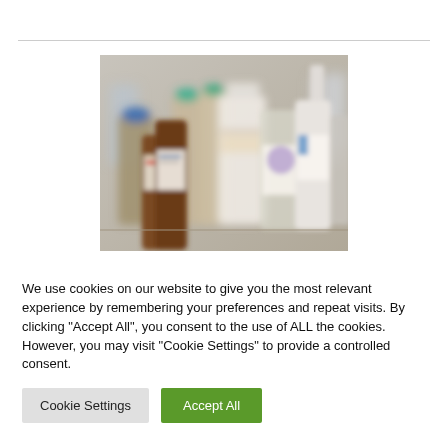[Figure (photo): Blurred photograph of various laboratory or pharmacy bottles and containers on a shelf, including brown, white and transparent bottles with colored caps (blue, teal, white), shot with shallow depth of field.]
We use cookies on our website to give you the most relevant experience by remembering your preferences and repeat visits. By clicking "Accept All", you consent to the use of ALL the cookies. However, you may visit "Cookie Settings" to provide a controlled consent.